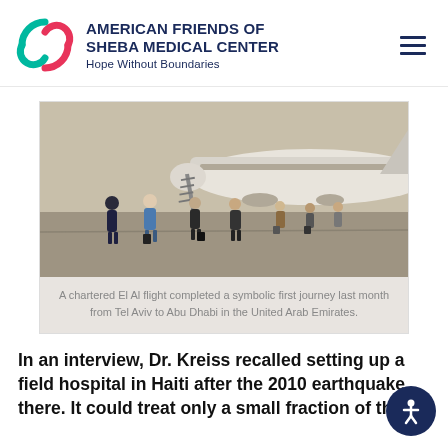[Figure (logo): American Friends of Sheba Medical Center logo — stylized S shape in teal/green and pink/red, with organization name and tagline 'Hope Without Boundaries']
[Figure (photo): People standing on an airport tarmac in front of a large passenger aircraft (El Al), some wearing masks and holding luggage, with boarding stairs visible in background.]
A chartered El Al flight completed a symbolic first journey last month from Tel Aviv to Abu Dhabi in the United Arab Emirates.
In an interview, Dr. Kreiss recalled setting up a field hospital in Haiti after the 2010 earthquake there. It could treat only a small fraction of the